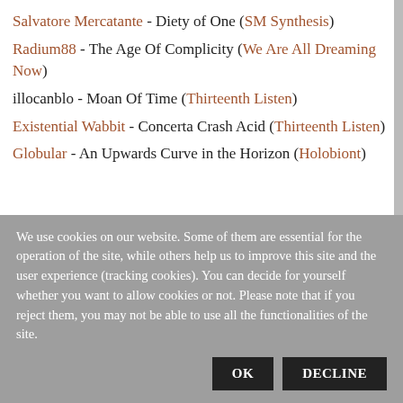Salvatore Mercatante - Diety of One (SM Synthesis)
Radium88 - The Age Of Complicity (We Are All Dreaming Now)
illocanblo - Moan Of Time (Thirteenth Listen)
Existential Wabbit - Concerta Crash Acid (Thirteenth Listen)
Globular - An Upwards Curve in the Horizon (Holobiont)
We use cookies on our website. Some of them are essential for the operation of the site, while others help us to improve this site and the user experience (tracking cookies). You can decide for yourself whether you want to allow cookies or not. Please note that if you reject them, you may not be able to use all the functionalities of the site.